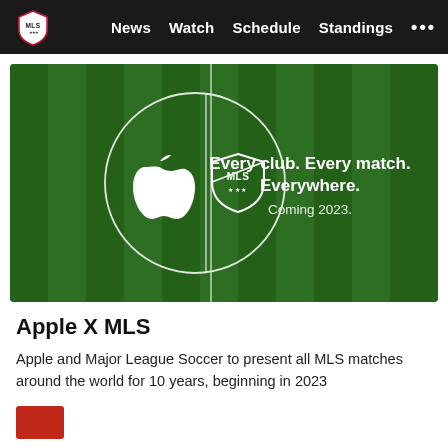MLS — News  Watch  Schedule  Standings  ···
[Figure (photo): Soccer field aerial view with Apple logo and MLS shield logo inside a white circle drawn on the pitch. Text overlay reads: 'Every club. Every match. Everywhere. Coming 2023.']
Apple X MLS
Apple and Major League Soccer to present all MLS matches around the world for 10 years, beginning in 2023